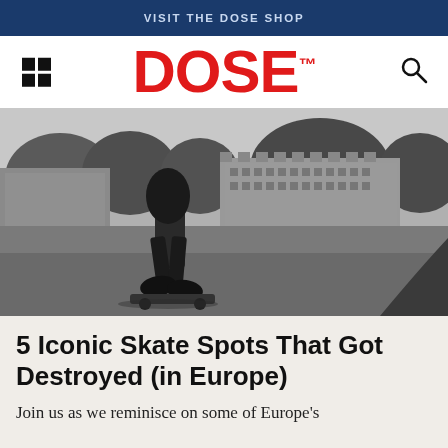VISIT THE DOSE SHOP
DOSE™
[Figure (photo): Black and white photograph of a skateboarder mid-trick in an urban plaza with historic European buildings and trees in the background, with a skate ramp visible on the right side.]
5 Iconic Skate Spots That Got Destroyed (in Europe)
Join us as we reminisce on some of Europe's